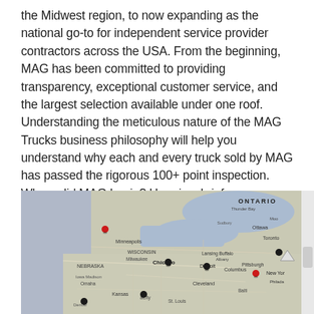the Midwest region, to now expanding as the national go-to for independent service provider contractors across the USA. From the beginning, MAG has been committed to providing transparency, exceptional customer service, and the largest selection available under one roof.  Understanding the meticulous nature of the MAG Trucks business philosophy will help you understand why each and every truck sold by MAG has passed the rigorous 100+ point inspection.  Where did MAG begin? Here is a brief understanding of how MAG started and the foundation and principles the company is built upon, becoming the National Supplier of ISP Trucks.
[Figure (map): A close-up photo of a physical road map of the Midwest/Great Lakes region of the United States and Canada, showing cities including Chicago, Detroit, Columbus, Pittsburgh, Toronto, Ottawa, and others. Several colored map pins (red and black) are stuck into various locations on the map.]